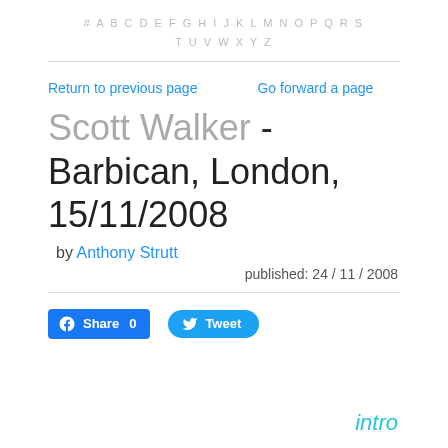# A B C D E F G H I J K L M N O P Q R S T U V W X Y Z
Return to previous page    Go forward a page
Scott Walker - Barbican, London, 15/11/2008
by Anthony Strutt
published: 24 / 11 / 2008
Share 0   Tweet
intro